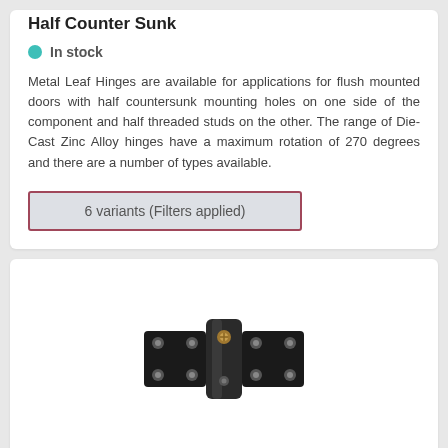Half Counter Sunk
In stock
Metal Leaf Hinges are available for applications for flush mounted doors with half countersunk mounting holes on one side of the component and half threaded studs on the other. The range of Die-Cast Zinc Alloy hinges have a maximum rotation of 270 degrees and there are a number of types available.
6 variants (Filters applied)
[Figure (photo): Black adjustable torque hinge with leaf, showing mounting holes and hinge mechanism]
Adjustable Torque Hinges - w/Leaf